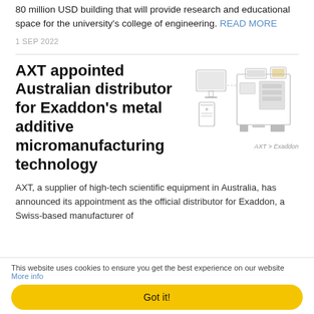80 million USD building that will provide research and educational space for the university's college of engineering. READ MORE
1 SEP 2022
AXT appointed Australian distributor for Exaddon’s metal additive micromanufacturing technology
[Figure (illustration): Illustration of scientific laboratory equipment, showing a computer workstation and a large instrument/machine side by side. Caption reads: AXT > Exaddon]
AXT > Exaddon
AXT, a supplier of high-tech scientific equipment in Australia, has announced its appointment as the official distributor for Exaddon, a Swiss-based manufacturer of
This website uses cookies to ensure you get the best experience on our website More info
Got it!